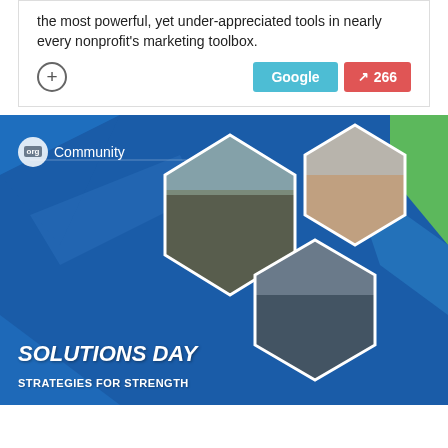the most powerful, yet under-appreciated tools in nearly every nonprofit's marketing toolbox.
[Figure (screenshot): Google button (teal) and share count button (red, 266 shares) with a plus/add icon on the left]
[Figure (photo): org Community promotional image for Solutions Day - Strategies for Strength event, featuring three hexagon-framed photos: audience in a conference session, a speaker in a red jacket presenting, and a man speaking with a microphone. Blue and green geometric background with the org Community logo.]